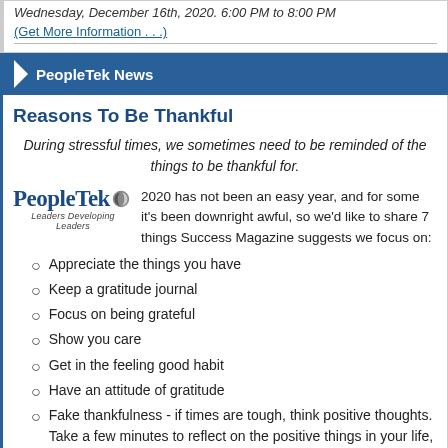Wednesday, December 16th, 2020. 6:00 PM to 8:00 PM
(Get More Information . . .)
PeopleTek News
Reasons To Be Thankful
During stressful times, we sometimes need to be reminded of the things to be thankful for.
2020 has not been an easy year, and for some it's been downright awful, so we'd like to share 7 things Success Magazine suggests we focus on:
Appreciate the things you have
Keep a gratitude journal
Focus on being grateful
Show you care
Get in the feeling good habit
Have an attitude of gratitude
Fake thankfulness - if times are tough, think positive thoughts. Take a few minutes to reflect on the positive things in your life, both professionally and personally, and may